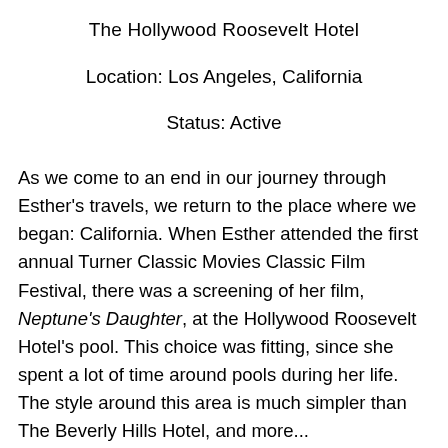The Hollywood Roosevelt Hotel
Location: Los Angeles, California
Status: Active
As we come to an end in our journey through Esther’s travels, we return to the place where we began: California. When Esther attended the first annual Turner Classic Movies Classic Film Festival, there was a screening of her film, Neptune’s Daughter, at the Hollywood Roosevelt Hotel’s pool. This choice was fitting, since she spent a lot of time around pools during her life. The style around this area is much simpler than The Beverly Hills Hotel, and more...